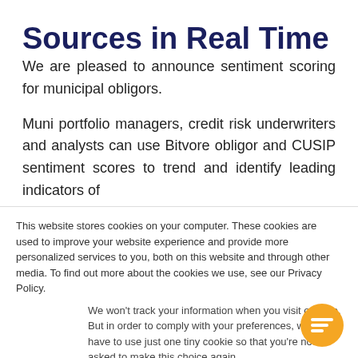Sources in Real Time
We are pleased to announce sentiment scoring for municipal obligors.
Muni portfolio managers, credit risk underwriters and analysts can use Bitvore obligor and CUSIP sentiment scores to trend and identify leading indicators of
This website stores cookies on your computer. These cookies are used to improve your website experience and provide more personalized services to you, both on this website and through other media. To find out more about the cookies we use, see our Privacy Policy.
We won't track your information when you visit our site. But in order to comply with your preferences, we'll have to use just one tiny cookie so that you're not asked to make this choice again.
Accept
Decline